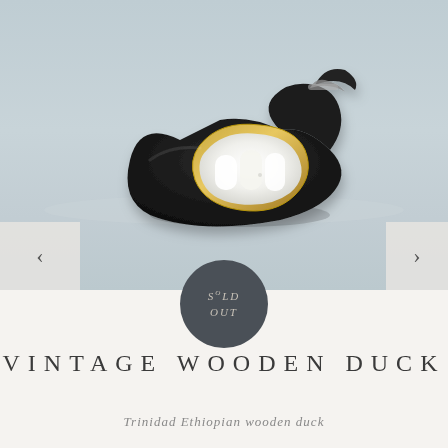[Figure (photo): A vintage wooden duck figurine, dark black/ebony body with gold trim and white interior visible, photographed on a light gray surface with shallow depth of field.]
SOLD OUT
VINTAGE WOODEN DUCK
Trinidad Ethiopian wooden duck